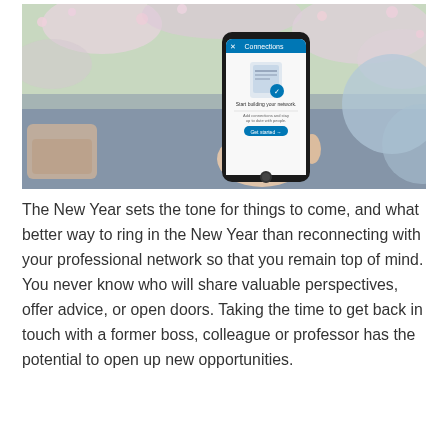[Figure (photo): A person holding a smartphone displaying a LinkedIn-style app screen, with a blurred floral background.]
The New Year sets the tone for things to come, and what better way to ring in the New Year than reconnecting with your professional network so that you remain top of mind. You never know who will share valuable perspectives, offer advice, or open doors. Taking the time to get back in touch with a former boss, colleague or professor has the potential to open up new opportunities.